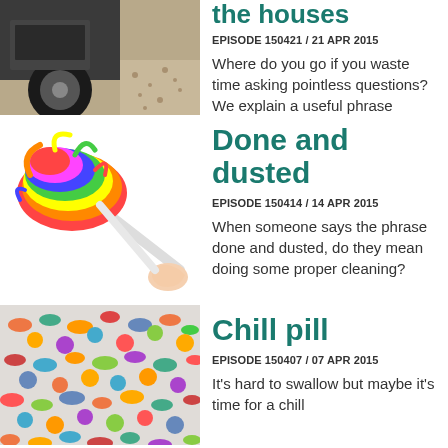[Figure (photo): Close-up of a car wheel/tyre on gravel]
the houses
EPISODE 150421 / 21 APR 2015
Where do you go if you waste time asking pointless questions? We explain a useful phrase
[Figure (photo): Colourful rainbow duster being held by a hand]
Done and dusted
EPISODE 150414 / 14 APR 2015
When someone says the phrase done and dusted, do they mean doing some proper cleaning?
[Figure (photo): Pile of colourful pills and capsules]
Chill pill
EPISODE 150407 / 07 APR 2015
It's hard to swallow but maybe it's time for a chill